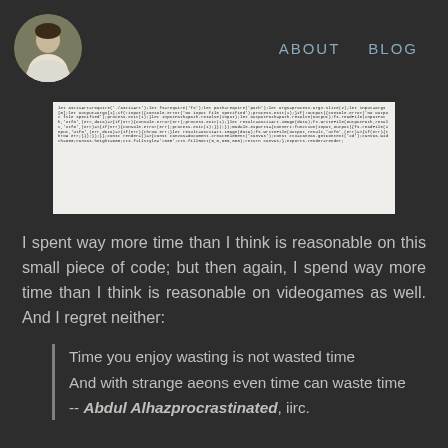ABOUT   BLOG
[Figure (screenshot): A small dense block of code or text rendered as an image with white/light background, appearing as a code snippet screenshot with very small monospace text.]
I spent way more time than I think is reasonable on this small piece of code; but then again, I spend way more time than I think is reasonable on videogames as well. And I regret neither:
Time you enjoy wasting is not wasted time
And with strange aeons even time can waste time
-- Abdul Alhazprocrastinated, iirc.